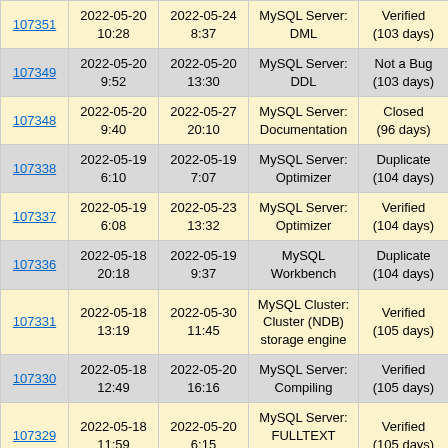| ID | Created | Modified | Component | Status | Sev |
| --- | --- | --- | --- | --- | --- |
| 107351 | 2022-05-20 10:28 | 2022-05-24 8:37 | MySQL Server: DML | Verified (103 days) | S3 |
| 107349 | 2022-05-20 9:52 | 2022-05-20 13:30 | MySQL Server: DDL | Not a Bug (103 days) | S3 |
| 107348 | 2022-05-20 9:40 | 2022-05-27 20:10 | MySQL Server: Documentation | Closed (96 days) | S3 |
| 107338 | 2022-05-19 6:10 | 2022-05-19 7:07 | MySQL Server: Optimizer | Duplicate (104 days) | S2 |
| 107337 | 2022-05-19 6:08 | 2022-05-23 13:32 | MySQL Server: Optimizer | Verified (104 days) | S3 |
| 107336 | 2022-05-18 20:18 | 2022-05-19 9:37 | MySQL Workbench | Duplicate (104 days) | S3 |
| 107331 | 2022-05-18 13:19 | 2022-05-30 11:45 | MySQL Cluster: Cluster (NDB) storage engine | Verified (105 days) | S3 |
| 107330 | 2022-05-18 12:49 | 2022-05-20 16:16 | MySQL Server: Compiling | Verified (105 days) | S3 |
| 107329 | 2022-05-18 11:59 | 2022-05-20 6:15 | MySQL Server: FULLTEXT search | Verified (105 days) | S3 |
| 107327 | 2022-05-18 | 2022-05-20 | MySQL Server: | Verified | S2 |